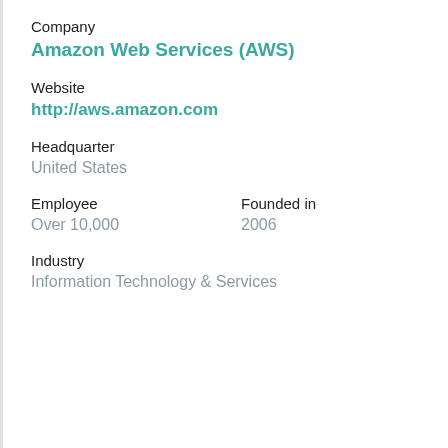Company
Amazon Web Services (AWS)
Website
http://aws.amazon.com
Headquarter
United States
Employee
Founded in
Over 10,000
2006
Industry
Information Technology & Services